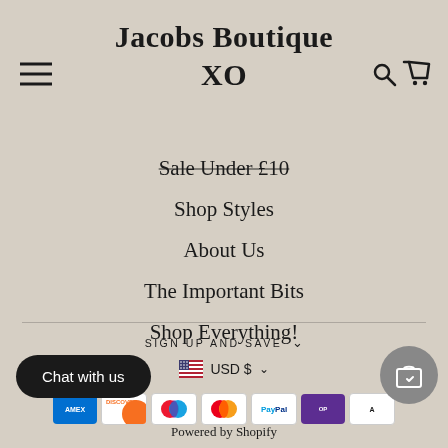Jacobs Boutique XO
Sale Under £10
Shop Styles
About Us
The Important Bits
Shop Everything!
SIGN UP AND SAVE
USD $
[Figure (other): Payment method icons: American Express, Discover, Maestro, Mastercard, PayPal, OpenPay, and another card]
Chat with us
Powered by Shopify